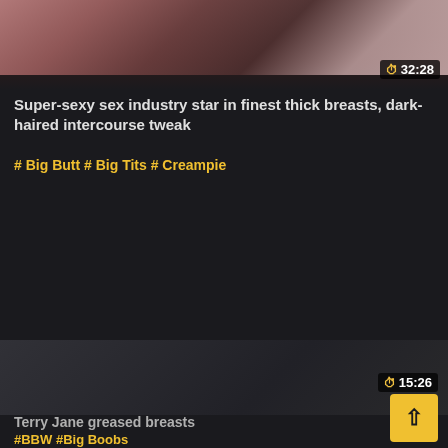[Figure (photo): Partial thumbnail of adult video at top of page, showing blurred/cropped image with dark tones]
32:28
Super-sexy sex industry star in finest thick breasts, dark-haired intercourse tweak
#Big Butt #Big Tits #Creampie
[Figure (photo): Partial thumbnail of second adult video at bottom of page]
15:26
Terry Jane greased breasts
#BBW #Big Boobs